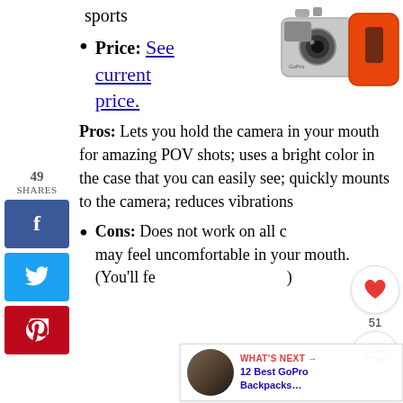[Figure (photo): GoPro action camera with orange/red case accessory, shown from above at an angle]
sports
Price: See current price.
49 SHARES
Pros: Lets you hold the camera in your mouth for amazing POV shots; uses a bright color in the case that you can easily see; quickly mounts to the camera; reduces vibrations
Cons: Does not work on all cameras; may feel uncomfortable in your mouth. (You'll feel more comfortable)